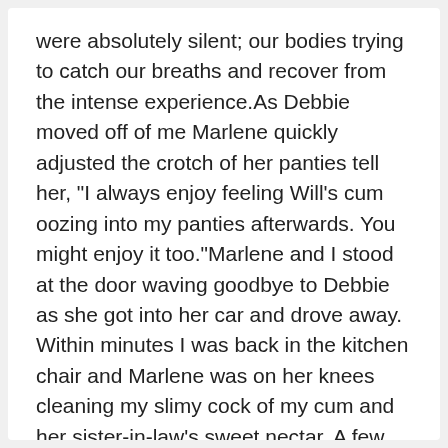were absolutely silent; our bodies trying to catch our breaths and recover from the intense experience.As Debbie moved off of me Marlene quickly adjusted the crotch of her panties tell her, "I always enjoy feeling Will's cum oozing into my panties afterwards. You might enjoy it too."Marlene and I stood at the door waving goodbye to Debbie as she got into her car and drove away. Within minutes I was back in the kitchen chair and Marlene was on her knees cleaning my slimy cock of my cum and her sister-in-law's sweet nectar. A few minutes later she straddled me and lowered herself on my again hard cock as I pulled the crotch of her panties to the side.